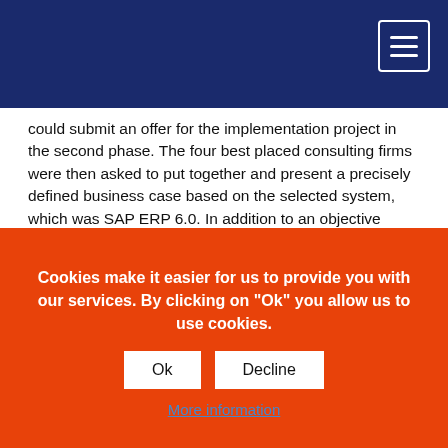could submit an offer for the implementation project in the second phase. The four best placed consulting firms were then asked to put together and present a precisely defined business case based on the selected system, which was SAP ERP 6.0. In addition to an objective assessment based on a catalog of criteria, the emotional and professional aspects of the presentation were also considered. This involved assessing, for example, whether the partner also speaks the language of the industry and would thus be accepted by all members of the project. Resource AG eventually emerged as the implementation partner following this evaluation.
Project and Change Management
Cookies make it easier for us to provide you with our services. By clicking on "Ok" you allow us to use cookies.
More information